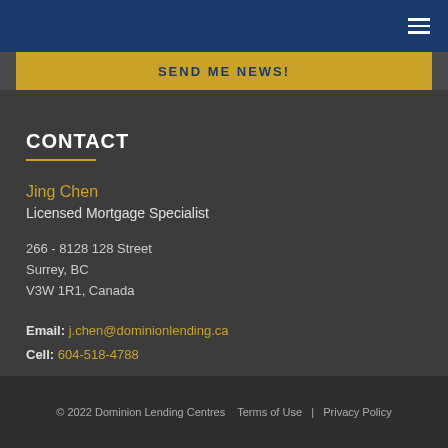[Figure (screenshot): Top navigation bar with dark blue background and hamburger menu icon (three horizontal lines) on the right]
[Figure (screenshot): Gold/yellow button bar with text 'SEND ME NEWS!']
CONTACT
Jing Chen
Licensed Mortgage Specialist
266 - 8128 128 Street
Surrey, BC
V3W 1R1, Canada
Email: j.chen@dominionlending.ca
Cell: 604-518-4788
© 2022 Dominion Lending Centres   Terms of Use  |  Privacy Policy